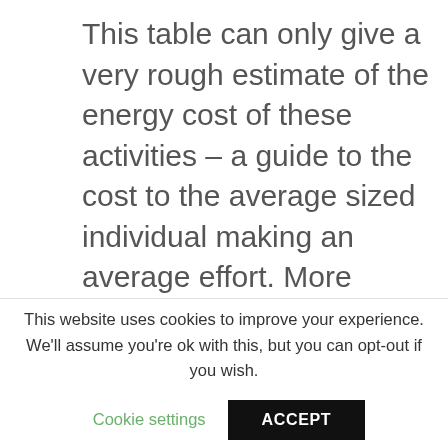This table can only give a very rough estimate of the energy cost of these activities – a guide to the cost to the average sized individual making an average effort. More detailed estimates can be found elsewhere. You can go on line for a calculator which will give you the energy cost of walking, running, cycling, skipping and rowing taking into account your weight, speed and
This website uses cookies to improve your experience. We'll assume you're ok with this, but you can opt-out if you wish.
Cookie settings   ACCEPT